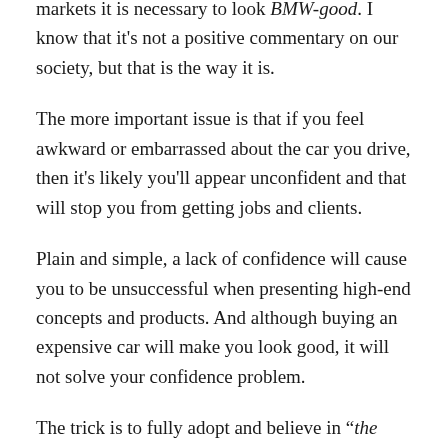markets it is necessary to look BMW-good. I know that it's not a positive commentary on our society, but that is the way it is.
The more important issue is that if you feel awkward or embarrassed about the car you drive, then it's likely you'll appear unconfident and that will stop you from getting jobs and clients.
Plain and simple, a lack of confidence will cause you to be unsuccessful when presenting high-end concepts and products. And although buying an expensive car will make you look good, it will not solve your confidence problem.
The trick is to fully adopt and believe in “the Mindset of a Million Dollar Designer” so that you act with confidence while also making decisions that...